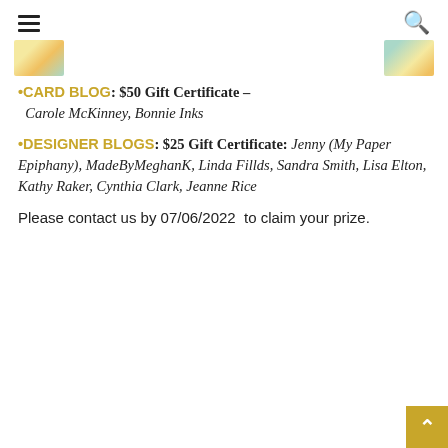≡   🔍
[Figure (photo): Two small thumbnail images of crafting cards — one on left with yellow/teal colors, one on right with similar colors]
•CARD BLOG: $50 Gift Certificate – Carole McKinney, Bonnie Inks
•DESIGNER BLOGS: $25 Gift Certificate: Jenny (My Paper Epiphany), MadeByMeghanK, Linda Fillds, Sandra Smith, Lisa Elton, Kathy Raker, Cynthia Clark, Jeanne Rice
Please contact us by 07/06/2022  to claim your prize.